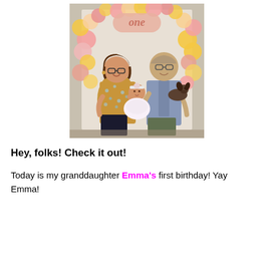[Figure (photo): A family photo at a first birthday party. Two adults (a woman on the left in a floral top and glasses, and a man on the right in a blue shirt) stand together holding a baby girl in a white tutu dress with a headband, and a small dog. Behind them is a balloon arch decorated with pink, gold, and white balloons and a rose gold 'one' balloon sign.]
Hey, folks! Check it out!
Today is my granddaughter Emma's first birthday! Yay Emma!